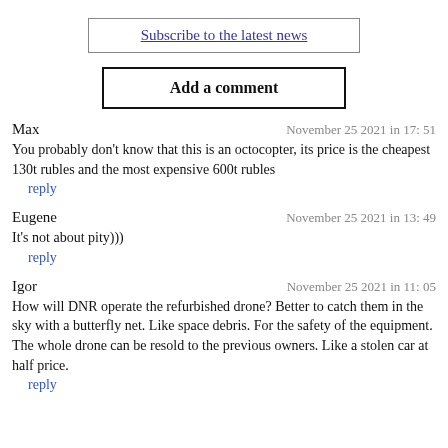Subscribe to the latest news
Add a comment
Max
November 25 2021 in 17: 51
You probably don’t know that this is an octocopter, its price is the cheapest 130t rubles and the most expensive 600t rubles
reply
Eugene
November 25 2021 in 13: 49
It’s not about pity)))
reply
Igor
November 25 2021 in 11: 05
How will DNR operate the refurbished drone? Better to catch them in the sky with a butterfly net. Like space debris. For the safety of the equipment.
The whole drone can be resold to the previous owners. Like a stolen car at half price.
reply